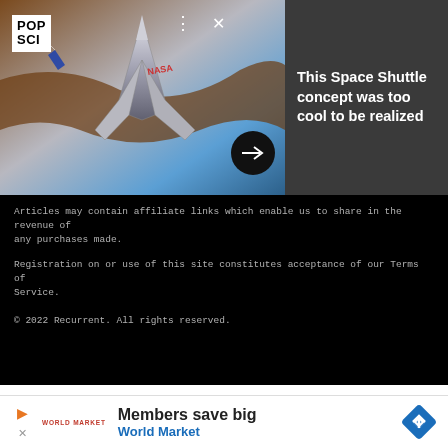[Figure (screenshot): PopSci website banner showing a space shuttle concept aircraft over Earth with silver/metallic design, brown and blue background. POP SCI logo in white box top left. Dark dots menu and X close button overlaid. Dark gray panel to the right with white headline text. Black arrow button at bottom.]
This Space Shuttle concept was too cool to be realized
Articles may contain affiliate links which enable us to share in the revenue of any purchases made.
Registration on or use of this site constitutes acceptance of our Terms of Service.
© 2022 Recurrent. All rights reserved.
[Figure (infographic): Advertisement banner for World Market. Shows play and X icons on left, World Market logo text in red, main headline 'Members save big', subtext 'World Market' in blue, and a blue diamond navigation icon on the right.]